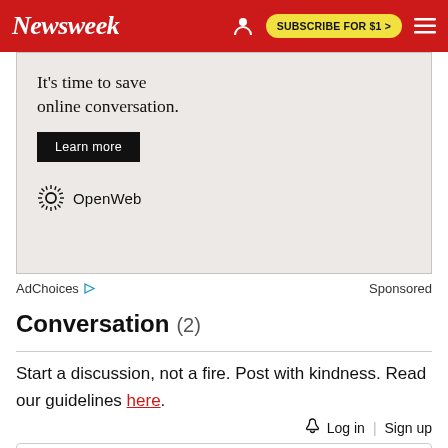Newsweek | SUBSCRIBE FOR $1 >
[Figure (infographic): Advertisement banner for OpenWeb with text 'It's time to save online conversation.' and a 'Learn more' button, featuring the OpenWeb logo.]
AdChoices ▷  Sponsored
Conversation (2)
Start a discussion, not a fire. Post with kindness. Read our guidelines here.
Log in | Sign up
What do you think?